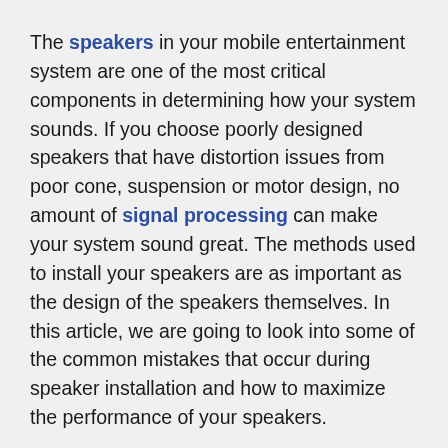The speakers in your mobile entertainment system are one of the most critical components in determining how your system sounds. If you choose poorly designed speakers that have distortion issues from poor cone, suspension or motor design, no amount of signal processing can make your system sound great. The methods used to install your speakers are as important as the design of the speakers themselves. In this article, we are going to look into some of the common mistakes that occur during speaker installation and how to maximize the performance of your speakers.
Speakers Need A Stable